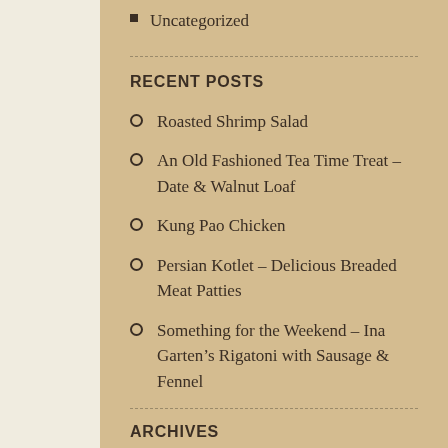Uncategorized
RECENT POSTS
Roasted Shrimp Salad
An Old Fashioned Tea Time Treat – Date & Walnut Loaf
Kung Pao Chicken
Persian Kotlet – Delicious Breaded Meat Patties
Something for the Weekend – Ina Garten's Rigatoni with Sausage & Fennel
ARCHIVES